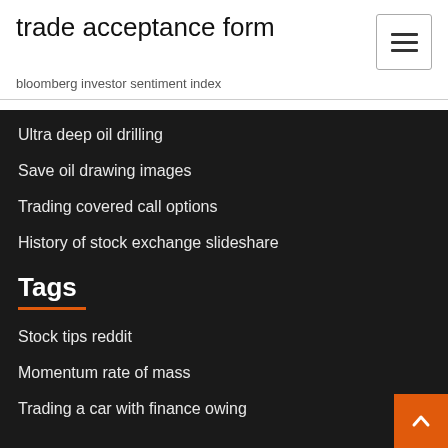trade acceptance form
bloomberg investor sentiment index
Ultra deep oil drilling
Save oil drawing images
Trading covered call options
History of stock exchange slideshare
Tags
Stock tips reddit
Momentum rate of mass
Trading a car with finance owing